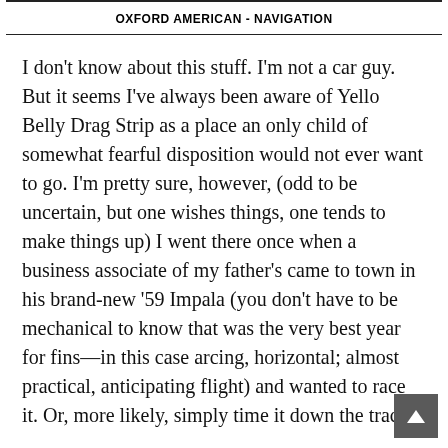OXFORD AMERICAN - NAVIGATION
I don't know about this stuff. I'm not a car guy. But it seems I've always been aware of Yello Belly Drag Strip as a place an only child of somewhat fearful disposition would not ever want to go. I'm pretty sure, however, (odd to be uncertain, but one wishes things, one tends to make things up) I went there once when a business associate of my father's came to town in his brand-new '59 Impala (you don't have to be mechanical to know that was the very best year for fins—in this case arcing, horizontal; almost practical, anticipating flight) and wanted to race it. Or, more likely, simply time it down the track.